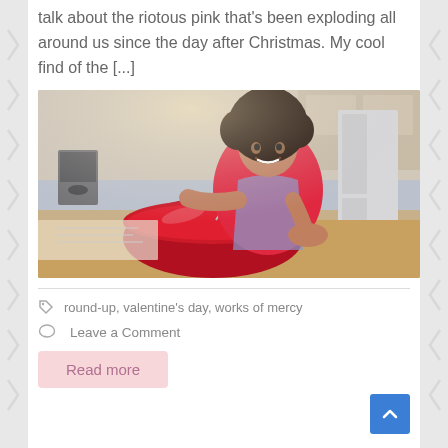talk about the riotous pink that's been exploding all around us since the day after Christmas. My cool find of the [...]
[Figure (photo): A young girl with curly hair wearing a red shirt and blue apron, smiling and whisking in a large red bowl in a kitchen setting.]
round-up, valentine's day, works of mercy
Leave a Comment
Read more